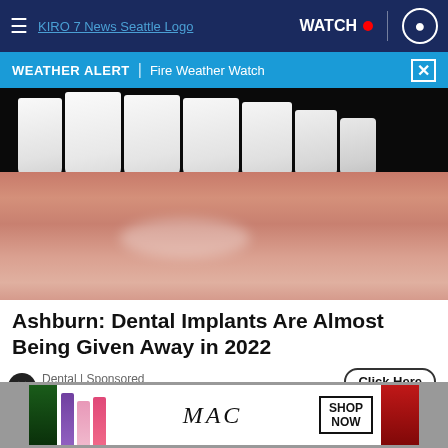≡  KIRO 7 News Seattle Logo  WATCH 🔴  👤
WEATHER ALERT | Fire Weather Watch  ×
[Figure (photo): Close-up photo of a person's open mouth showing white dental implants/teeth with lips visible below.]
Ashburn: Dental Implants Are Almost Being Given Away in 2022
Dental | Sponsored
Click Here
[Figure (photo): MAC cosmetics advertisement banner showing colorful lipsticks (purple, pink, red) with MAC logo and 'SHOP NOW' box.]